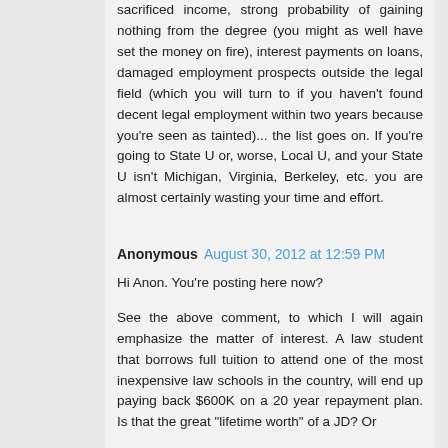sacrificed income, strong probability of gaining nothing from the degree (you might as well have set the money on fire), interest payments on loans, damaged employment prospects outside the legal field (which you will turn to if you haven't found decent legal employment within two years because you're seen as tainted)... the list goes on. If you're going to State U or, worse, Local U, and your State U isn't Michigan, Virginia, Berkeley, etc. you are almost certainly wasting your time and effort.
Anonymous  August 30, 2012 at 12:59 PM
Hi Anon. You're posting here now?
See the above comment, to which I will again emphasize the matter of interest. A law student that borrows full tuition to attend one of the most inexpensive law schools in the country, will end up paying back $600K on a 20 year repayment plan. Is that the great "lifetime worth" of a JD? Or